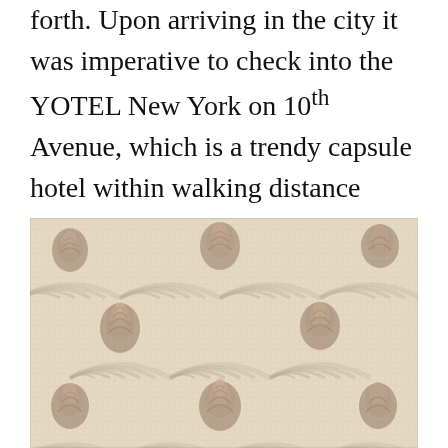forth. Upon arriving in the city it was imperative to check into the YOTEL New York on 10th Avenue, which is a trendy capsule hotel within walking distance from the Port Authority and Times Square.
[Figure (photo): Close-up photograph of an ancient Roman-style mosaic floor featuring a scallop/fan pattern made of small cream/beige tesserae tiles, with brown and terracotta decorative motifs (possibly pinecones or artichokes) at the intersections of the curved fan shapes.]